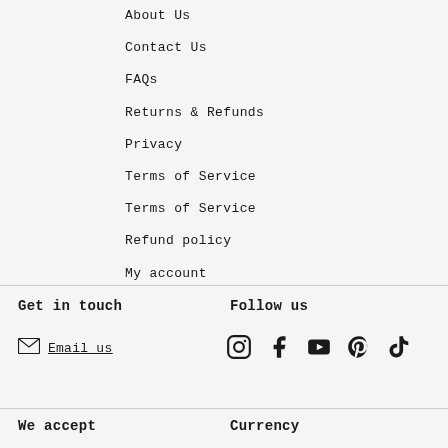About Us
Contact Us
FAQs
Returns & Refunds
Privacy
Terms of Service
Terms of Service
Refund policy
My account
Get in touch
Follow us
Email us
[Figure (infographic): Social media icons: Instagram, Facebook, YouTube, Pinterest, TikTok]
We accept
Currency